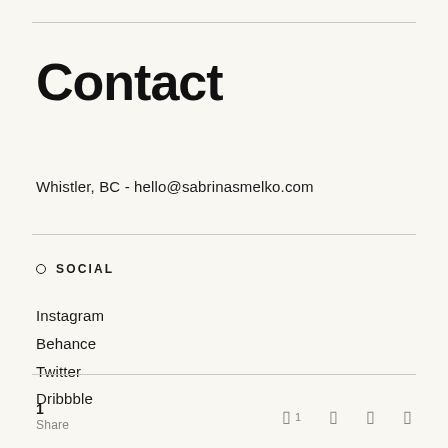Contact
Whistler, BC - hello@sabrinasmelko.com
SOCIAL
Instagram
Behance
Twitter
Dribbble
1 Share